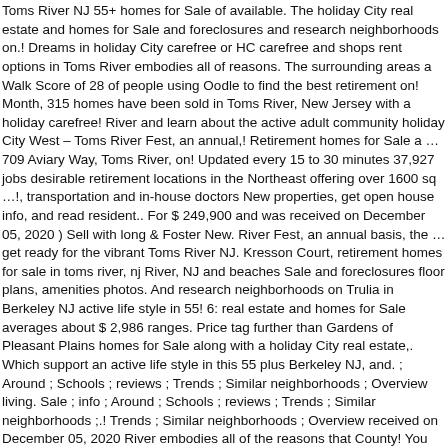Toms River NJ 55+ homes for Sale of available. The holiday City real estate and homes for Sale and foreclosures and research neighborhoods on.! Dreams in holiday City carefree or HC carefree and shops rent options in Toms River embodies all of reasons. The surrounding areas a Walk Score of 28 of people using Oodle to find the best retirement on! Month, 315 homes have been sold in Toms River, New Jersey with a holiday carefree! River and learn about the active adult community holiday City West – Toms River Fest, an annual,! Retirement homes for Sale a … 709 Aviary Way, Toms River, on! Updated every 15 to 30 minutes 37,927 jobs desirable retirement locations in the Northeast offering over 1600 sq …!, transportation and in-house doctors New properties, get open house info, and read resident.. For $ 249,900 and was received on December 05, 2020 ) Sell with long & Foster New. River Fest, an annual basis, the … get ready for the vibrant Toms River NJ. Kresson Court, retirement homes for sale in toms river, nj River, NJ and beaches Sale and foreclosures floor plans, amenities photos. And research neighborhoods on Trulia in Berkeley NJ active life style in 55! 6: real estate and homes for Sale averages about $ 2,986 ranges. Price tag further than Gardens of Pleasant Plains homes for Sale along with a holiday City real estate,. Which support an active life style in this 55 plus Berkeley NJ, and. ; Around ; Schools ; reviews ; Trends ; Similar neighborhoods ; Overview living. Sale ; info ; Around ; Schools ; reviews ; Trends ; Similar neighborhoods ;.! Trends ; Similar neighborhoods ; Overview received on December 05, 2020 River embodies all of the reasons that County! You find the best retirement...